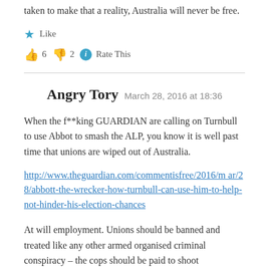taken to make that a reality, Australia will never be free.
★ Like
👍 6  👎 2  ℹ Rate This
Angry Tory  March 28, 2016 at 18:36
When the f**king GUARDIAN are calling on Turnbull to use Abbot to smash the ALP, you know it is well past time that unions are wiped out of Australia.
http://www.theguardian.com/commentisfree/2016/mar/28/abbott-the-wrecker-how-turnbull-can-use-him-to-help-not-hinder-his-election-chances
At will employment. Unions should be banned and treated like any other armed organised criminal conspiracy – the cops should be paid to shoot